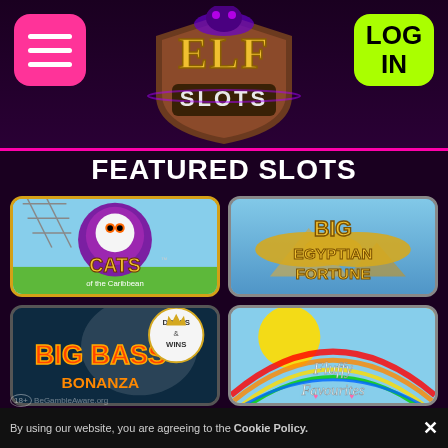[Figure (logo): Elf Slots casino website screenshot showing logo, menu button, login button, featured slots section with game thumbnails, and cookie consent bar]
ELF SLOTS
FEATURED SLOTS
[Figure (screenshot): Cats of the Caribbean slot game thumbnail]
[Figure (screenshot): Big Egyptian Fortune slot game thumbnail]
[Figure (screenshot): Big Bass Bonanza slot game thumbnail with Drops & Wins badge]
[Figure (screenshot): Fluffy Favourites slot game thumbnail]
By using our website, you are agreeing to the Cookie Policy.